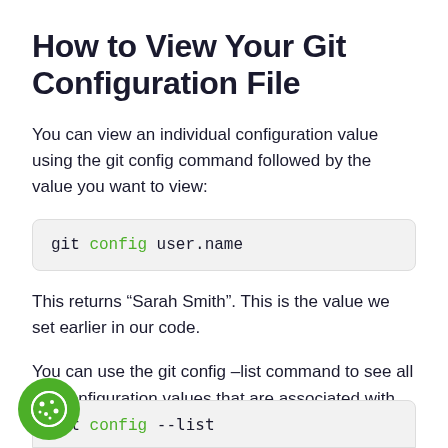How to View Your Git Configuration File
You can view an individual configuration value using the git config command followed by the value you want to view:
git config user.name
This returns “Sarah Smith”. This is the value we set earlier in our code.
You can use the git config –list command to see all the configuration values that are associated with your particular Git installation:
git config --list